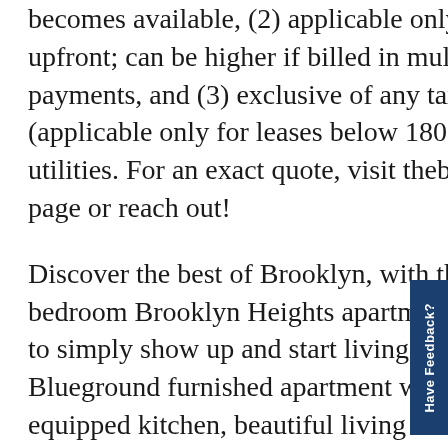becomes available, (2) applicable only if billed upfront; can be higher if billed in multiple payments, and (3) exclusive of any taxes (applicable only for leases below 180 days) or utilities. For an exact quote, visit theblueground page or reach out!
Discover the best of Brooklyn, with this three-bedroom Brooklyn Heights apartment. It'll be easy to simply show up and start living in this elegantly Blueground furnished apartment with its fully-equipped kitchen, beautiful living room, and our dedicated, on-the-ground support. (#NYC794)